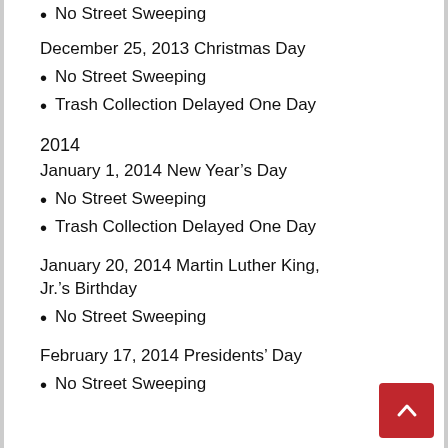No Street Sweeping
December 25, 2013 Christmas Day
No Street Sweeping
Trash Collection Delayed One Day
2014
January 1, 2014 New Year's Day
No Street Sweeping
Trash Collection Delayed One Day
January 20, 2014 Martin Luther King, Jr.'s Birthday
No Street Sweeping
February 17, 2014 Presidents' Day
No Street Sweeping